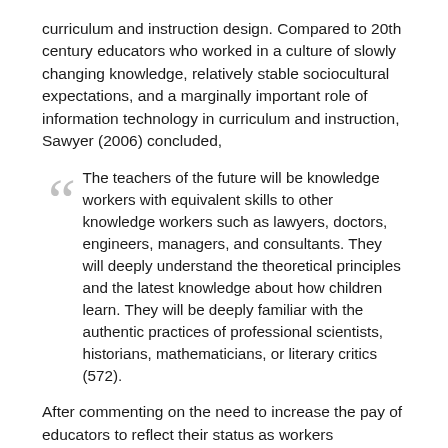curriculum and instruction design. Compared to 20th century educators who worked in a culture of slowly changing knowledge, relatively stable sociocultural expectations, and a marginally important role of information technology in curriculum and instruction, Sawyer (2006) concluded,
The teachers of the future will be knowledge workers with equivalent skills to other knowledge workers such as lawyers, doctors, engineers, managers, and consultants. They will deeply understand the theoretical principles and the latest knowledge about how children learn. They will be deeply familiar with the authentic practices of professional scientists, historians, mathematicians, or literary critics (572).
After commenting on the need to increase the pay of educators to reflect their status as workers comparable to other professionals, Sawyer concludes, “The classrooms of the future will require more autonomy, more creativity, and more content knowledge” (2006, 572). In addition, classrooms of the future will require educators who adopt a much shorter period of updating practices.
Whereas 20th century educators were able to develop their